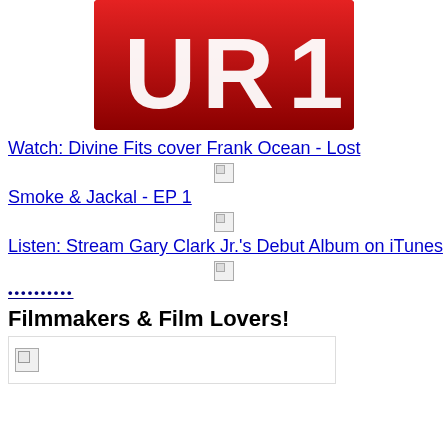[Figure (logo): UR1 logo — white letters on red background]
Watch: Divine Fits cover Frank Ocean - Lost
[Figure (photo): Broken/unloaded image thumbnail]
Smoke & Jackal - EP 1
[Figure (photo): Broken/unloaded image thumbnail]
Listen: Stream Gary Clark Jr.'s Debut Album on iTunes
[Figure (photo): Broken/unloaded image thumbnail]
••••••••••
Filmmakers & Film Lovers!
[Figure (photo): Broken/unloaded image with red border, partial view]